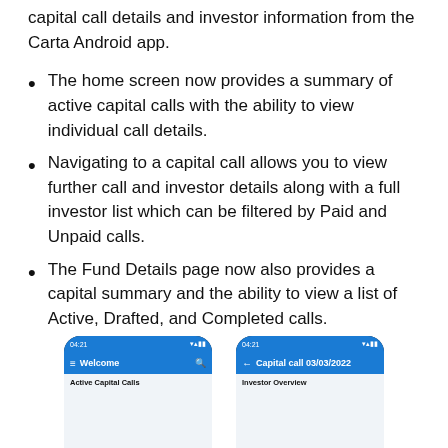capital call details and investor information from the Carta Android app.
The home screen now provides a summary of active capital calls with the ability to view individual call details.
Navigating to a capital call allows you to view further call and investor details along with a full investor list which can be filtered by Paid and Unpaid calls.
The Fund Details page now also provides a capital summary and the ability to view a list of Active, Drafted, and Completed calls.
[Figure (screenshot): Two Android phone screenshots side by side. Left phone shows 'Welcome' screen with 'Active Capital Calls' section. Right phone shows 'Capital call 03/03/2022' screen with 'Investor Overview' section.]